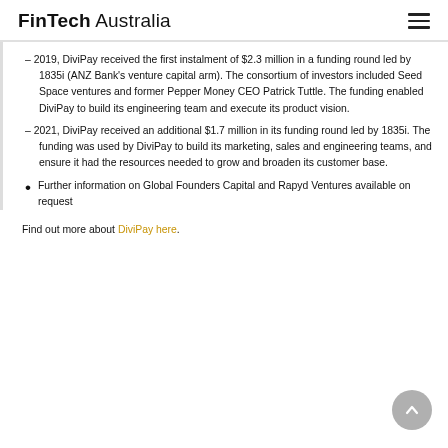FinTech Australia
– 2019, DiviPay received the first instalment of $2.3 million in a funding round led by 1835i (ANZ Bank's venture capital arm). The consortium of investors included Seed Space ventures and former Pepper Money CEO Patrick Tuttle. The funding enabled DiviPay to build its engineering team and execute its product vision.
– 2021, DiviPay received an additional $1.7 million in its funding round led by 1835i. The funding was used by DiviPay to build its marketing, sales and engineering teams, and ensure it had the resources needed to grow and broaden its customer base.
Further information on Global Founders Capital and Rapyd Ventures available on request
Find out more about DiviPay here.